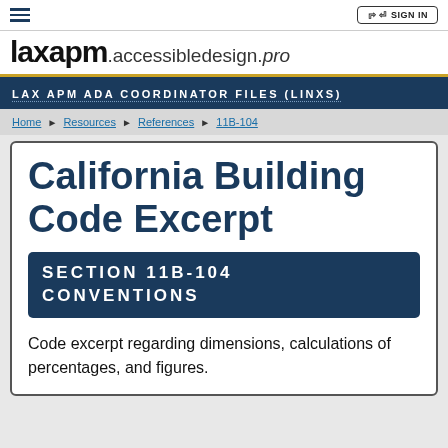SIGN IN
laxapm.accessibledesign.pro
LAX APM ADA COORDINATOR FILES (LINXS)
Home ▶ Resources ▶ References ▶ 11B-104
California Building Code Excerpt
SECTION 11B-104
CONVENTIONS
Code excerpt regarding dimensions, calculations of percentages, and figures.